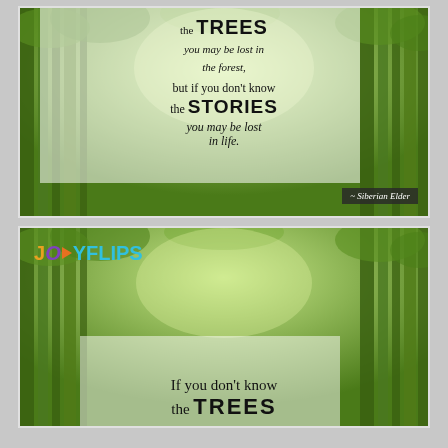[Figure (illustration): Inspirational quote card over bamboo forest image. Text reads: 'the TREES you may be lost in the forest, but if you don't know the STORIES you may be lost in life.' Attribution: ~ Siberian Elder]
[Figure (illustration): JoyFlips branded quote card over bamboo forest image. Shows JoyFlips logo at top left with colorful text. Bottom text reads: 'If you don't know the TREES']